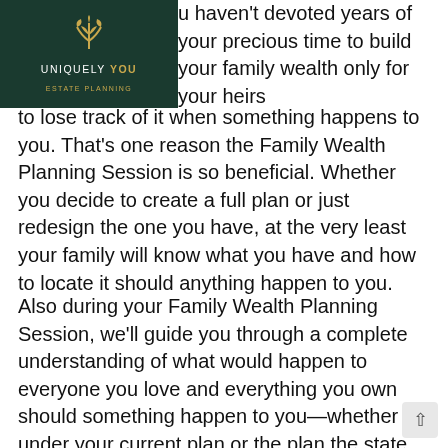[Figure (logo): Uniquely You Estate Planning logo — dark green background with gold plant/leaf icon, white text UNIQUELY YOU, gold text ESTATE PLANNING]
u haven't devoted years of your precious time to build your family wealth only for your heirs to lose track of it when something happens to you. That's one reason the Family Wealth Planning Session is so beneficial. Whether you decide to create a full plan or just redesign the one you have, at the very least your family will know what you have and how to locate it should anything happen to you.
Also during your Family Wealth Planning Session, we'll guide you through a complete understanding of what would happen to everyone you love and everything you own should something happen to you—whether it's under your current plan or the plan the state has for you if you don't have an estate plan yet. From there, you can decide if that plan is how you want things handled or if you want a different outcome, in which case we can design a